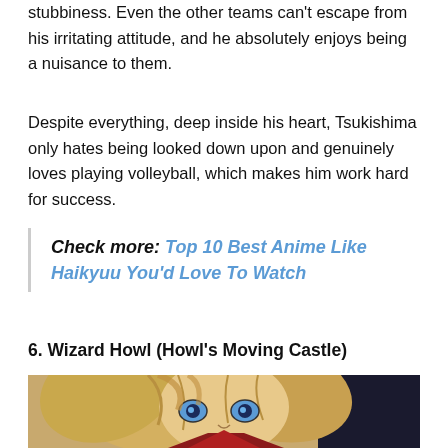stubbiness. Even the other teams can't escape from his irritating attitude, and he absolutely enjoys being a nuisance to them.
Despite everything, deep inside his heart, Tsukishima only hates being looked down upon and genuinely loves playing volleyball, which makes him work hard for success.
Check more: Top 10 Best Anime Like Haikyuu You'd Love To Watch
6. Wizard Howl (Howl's Moving Castle)
[Figure (illustration): Close-up illustration of Wizard Howl from Howl's Moving Castle anime, showing his blonde hair and blue eyes with a dark background.]